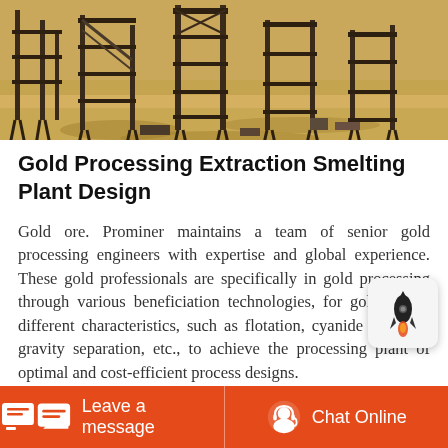[Figure (photo): Photograph of a gold processing plant construction site showing metal scaffolding/conveyor structures on sandy/dusty ground under bright sunlight.]
Gold Processing Extraction Smelting Plant Design
Gold ore. Prominer maintains a team of senior gold processing engineers with expertise and global experience. These gold professionals are specifically in gold processing through various beneficiation technologies, for gold ore of different characteristics, such as flotation, cyanide leaching, gravity separation, etc., to achieve the processing plant of optimal and cost-efficient process designs.
Leave a message  |  Chat Online